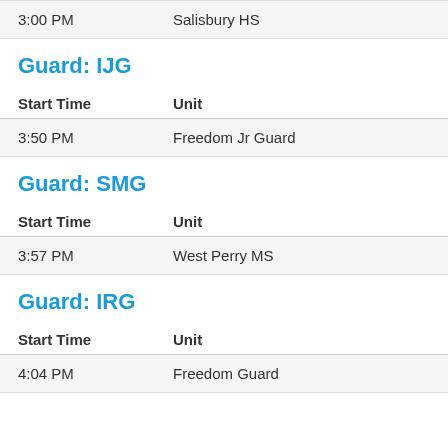| Start Time | Unit |
| --- | --- |
| 3:00 PM | Salisbury HS |
Guard: IJG
| Start Time | Unit |
| --- | --- |
| 3:50 PM | Freedom Jr Guard |
Guard: SMG
| Start Time | Unit |
| --- | --- |
| 3:57 PM | West Perry MS |
Guard: IRG
| Start Time | Unit |
| --- | --- |
| 4:04 PM | Freedom Guard |